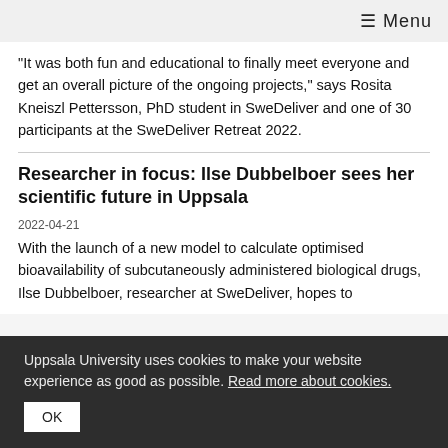≡ Menu
“It was both fun and educational to finally meet everyone and get an overall picture of the ongoing projects," says Rosita Kneiszl Pettersson, PhD student in SweDeliver and one of 30 participants at the SweDeliver Retreat 2022.
Researcher in focus: Ilse Dubbelboer sees her scientific future in Uppsala
2022-04-21
With the launch of a new model to calculate optimised bioavailability of subcutaneously administered biological drugs, Ilse Dubbelboer, researcher at SweDeliver, hopes to
Uppsala University uses cookies to make your website experience as good as possible. Read more about cookies.